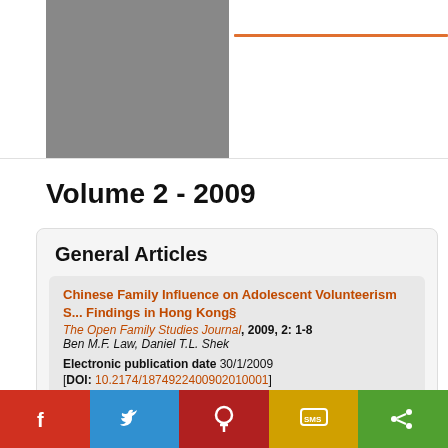[Figure (other): Gray rectangular placeholder image on the left side of the header area, with an orange horizontal line to the right]
Volume 2 - 2009
General Articles
Chinese Family Influence on Adolescent Volunteerism S... Findings in Hong Kong§
The Open Family Studies Journal, 2009, 2: 1-8
Ben M.F. Law, Daniel T.L. Shek

Electronic publication date 30/1/2009
[DOI: 10.2174/1874922400902010001]
View Abstract   Download PDF
[Figure (other): Social media sharing bar at the bottom with Facebook (red), Twitter (blue), Pinterest (dark red), SMS (yellow/gold), and Share (green) buttons]